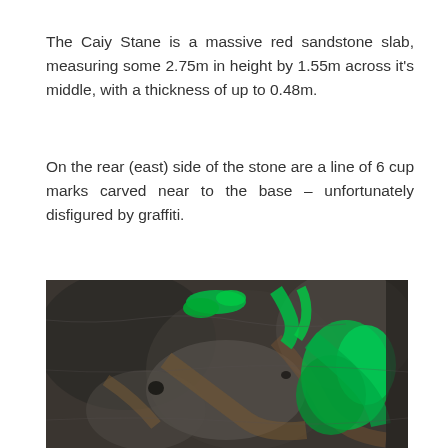The Caiy Stane is a massive red sandstone slab, measuring some 2.75m in height by 1.55m across it's middle, with a thickness of up to 0.48m.
On the rear (east) side of the stone are a line of 6 cup marks carved near to the base – unfortunately disfigured by graffiti.
[Figure (photo): Close-up photograph of a dark rock surface (the Caiy Stane) showing green graffiti paint sprayed across the textured stone surface, with brownish and grey tones in the rock.]